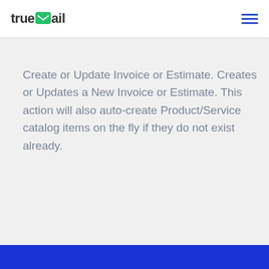[Figure (logo): TrueMail logo with envelope icon in green/teal square, text reads 'trueMail']
Create or Update Invoice or Estimate. Creates or Updates a New Invoice or Estimate. This action will also auto-create Product/Service catalog items on the fly if they do not exist already.